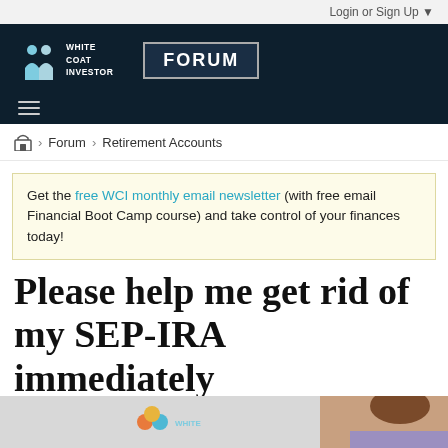Login or Sign Up ▼
[Figure (logo): White Coat Investor Forum logo — two human figures icon with 'WHITE COAT INVESTOR' text and 'FORUM' badge on dark navy background]
≡ (hamburger menu)
🏠 > Forum > Retirement Accounts
Get the free WCI monthly email newsletter (with free email Financial Boot Camp course) and take control of your finances today!
Please help me get rid of my SEP-IRA immediately
[Figure (photo): Partial photo at bottom showing WCI logo and a person (partial face/hair visible)]